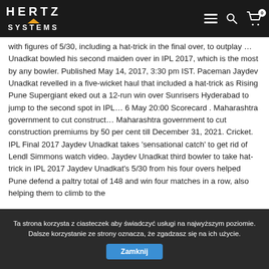HERTZ SYSTEMS [logo with navigation bar]
with figures of 5/30, including a hat-trick in the final over, to outplay … Unadkat bowled his second maiden over in IPL 2017, which is the most by any bowler. Published May 14, 2017, 3:30 pm IST. Paceman Jaydev Unadkat revelled in a five-wicket haul that included a hat-trick as Rising Pune Supergiant eked out a 12-run win over Sunrisers Hyderabad to jump to the second spot in IPL… 6 May 20:00 Scorecard . Maharashtra government to cut construct… Maharashtra government to cut construction premiums by 50 per cent till December 31, 2021. Cricket. IPL Final 2017 Jaydev Unadkat takes 'sensational catch' to get rid of Lendl Simmons watch video. Jaydev Unadkat third bowler to take hat-trick in IPL 2017 Jaydev Unadkat's 5/30 from his four overs helped Pune defend a paltry total of 148 and win four matches in a row, also helping them to climb to the
Ta strona korzysta z ciasteczek aby świadczyć usługi na najwyższym poziomie. Dalsze korzystanie ze strony oznacza, że zgadzasz się na ich użycie. Zamknij